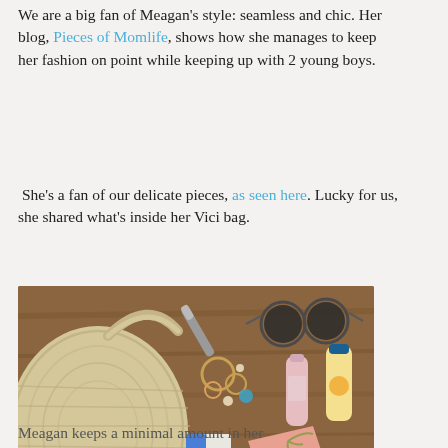We are a big fan of Meagan's style: seamless and chic. Her blog, Pieces of Momlife, shows how she manages to keep her fashion on point while keeping up with 2 young boys.
She's a fan of our delicate pieces, as seen here. Lucky for us, she shared what's inside her Vici bag.
[Figure (photo): Flat lay photo on a wooden surface showing a woven straw bag, sunglasses, jewelry, lip gloss, sunscreen, a pink card holder, and other accessories spilling out of the bag. A dark navy chat button overlays the bottom right corner reading 'Chat with us'.]
Meagan keeps a minimal amount in her